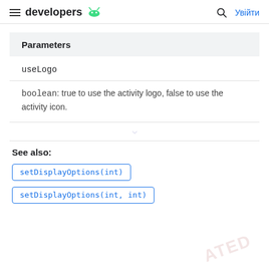developers  Увійти
Parameters
useLogo
boolean: true to use the activity logo, false to use the activity icon.
See also:
setDisplayOptions(int)
setDisplayOptions(int, int)